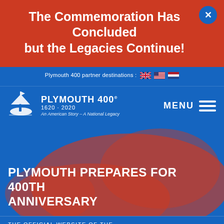The Commemoration Has Concluded but the Legacies Continue!
Plymouth 400 partner destinations : 🇬🇧 🇺🇸 🇳🇱
[Figure (logo): Plymouth 400 logo with sailing ship silhouette and text PLYMOUTH 400 1620-2020 An American Story – A National Legacy]
MENU
PLYMOUTH PREPARES FOR 400TH ANNIVERSARY
THE OFFICIAL WEBSITE OF THE PLYMOUTH 400